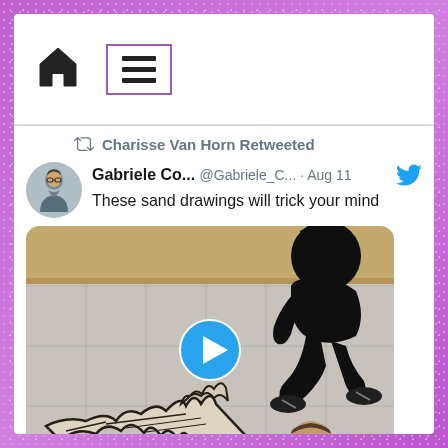[Figure (screenshot): Twitter/social media app screenshot showing a retweet by Charisse Van Horn of a tweet by Gabriele Co... (@Gabriele_C...) from Aug 11 saying 'These sand drawings will trick your mind', with a video thumbnail showing a person in black clothes near a sand drawing on a tiled floor depicting hands gripping a person]
Navigation bar with home icon and hamburger menu icon
Charisse Van Horn Retweeted
Gabriele Co... @Gabriele_C... · Aug 11
These sand drawings will trick your mind